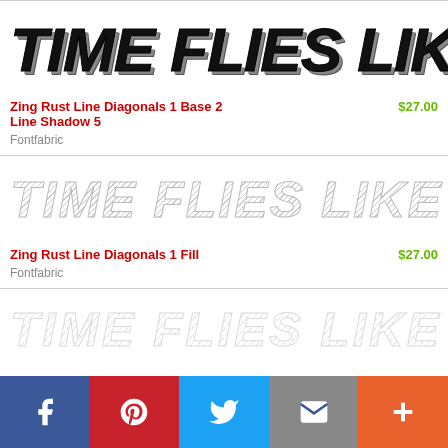[Figure (illustration): Large bold italic text preview reading TIME FLIES LIKE AN ARRO in heavy black textured font]
Zing Rust Line Diagonals 1 Base 2 Line Shadow 5   $27.00
Fontfabric
[Figure (illustration): Font preview of TIME FLIES LIKE AN ARRO in light diagonal-line crosshatch style lettering]
Zing Rust Line Diagonals 1 Fill   $27.00
Fontfabric
[Figure (illustration): Font preview of TIME FLIES LIKE AN ARRO in very light outline diagonal-line style]
Facebook Pinterest Twitter Email Plus social share buttons